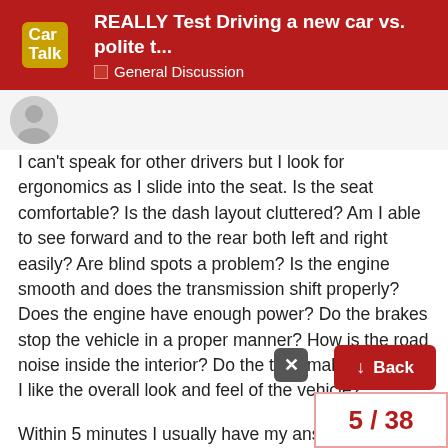REALLY Test Driving a new car vs. polite t... | General Discussion
I can't speak for other drivers but I look for ergonomics as I slide into the seat. Is the seat comfortable? Is the dash layout cluttered? Am I able to see forward and to the rear both left and right easily? Are blind spots a problem? Is the engine smooth and does the transmission shift properly? Does the engine have enough power? Do the brakes stop the vehicle in a proper manner? How is the road noise inside the interior? Do the tires make noise. Do I like the overall look and feel of the vehicle?
Within 5 minutes I usually have my answers. Sometimes...I have my answer even sooner if the vehicle does not appeal to me all all. Personal taste is a big factor in determining what vehicle I buy. I lean towards pickup trucks because I had a Ford Super Mini Crew...and the Villager...